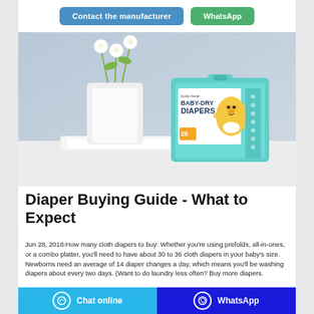[Figure (other): Two buttons: 'Contact the manufacturer' (blue) and 'WhatsApp' (green)]
[Figure (photo): Product photo of 'bubu bear BABY-DRY DIAPERS' box (28 count) with cartoon bear character, placed on white cloth next to a white vase with flowers, against a blue-grey background]
Diaper Buying Guide - What to Expect
Jun 28, 2018·How many cloth diapers to buy: Whether you're using prefolds, all-in-ones, or a combo platter, you'll need to have about 30 to 36 cloth diapers in your baby's size. Newborns need an average of 14 diaper changes a day, which means you'll be washing diapers about every two days. (Want to do laundry less often? Buy more diapers.
[Figure (other): Bottom navigation bar with two buttons: 'Chat online' (light blue) with chat icon, and 'WhatsApp' (dark blue) with WhatsApp icon]